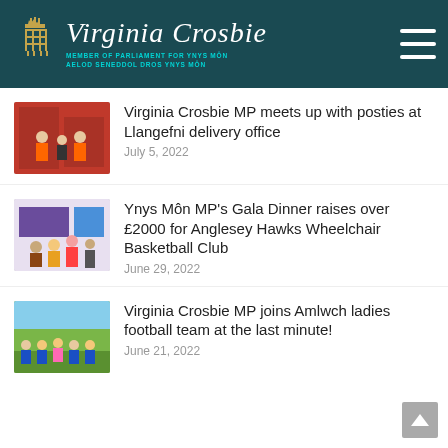Virginia Crosbie – Member of Parliament for Ynys Môn / Aelod Seneddol Dros Ynys Môn
Virginia Crosbie MP meets up with posties at Llangefni delivery office
July 5, 2022
Ynys Môn MP's Gala Dinner raises over £2000 for Anglesey Hawks Wheelchair Basketball Club
June 29, 2022
Virginia Crosbie MP joins Amlwch ladies football team at the last minute!
June 21, 2022